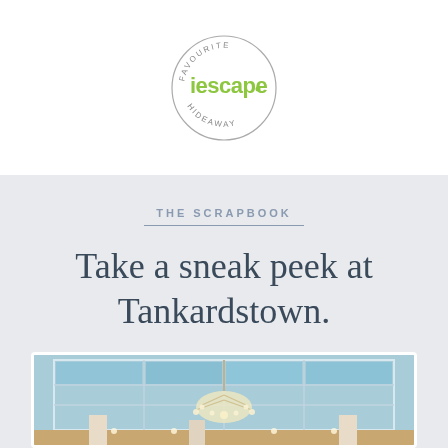[Figure (logo): iescape Favourite Hideaway circular logo with green text]
THE SCRAPBOOK
Take a sneak peek at Tankardstown.
[Figure (photo): Interior photo of Tankardstown showing a glass ceiling/skylight with a chandelier hanging down, columns visible, warm lighting below]